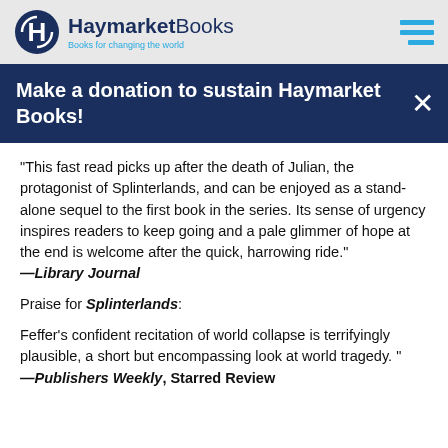[Figure (logo): Haymarket Books logo with circular H icon and tagline 'Books for changing the world']
Make a donation to sustain Haymarket Books!
"This fast read picks up after the death of Julian, the protagonist of Splinterlands, and can be enjoyed as a stand-alone sequel to the first book in the series. Its sense of urgency inspires readers to keep going and a pale glimmer of hope at the end is welcome after the quick, harrowing ride."
—Library Journal
Praise for Splinterlands:
Feffer's confident recitation of world collapse is terrifyingly plausible, a short but encompassing look at world tragedy. "
—Publishers Weekly, Starred Review